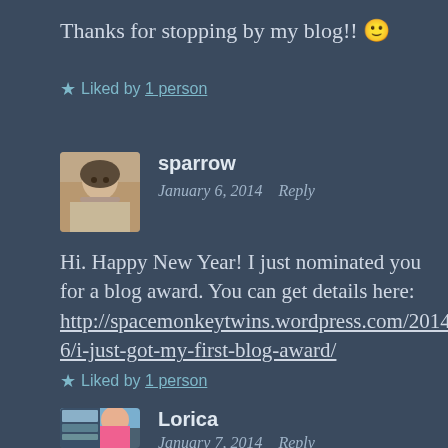Thanks for stopping by my blog!! 🙂
★ Liked by 1 person
sparrow
January 6, 2014   Reply
Hi. Happy New Year! I just nominated you for a blog award. You can get details here: http://spacemonkeytwins.wordpress.com/2014/01/06/i-just-got-my-first-blog-award/
★ Liked by 1 person
Lorica
January 7, 2014   Reply